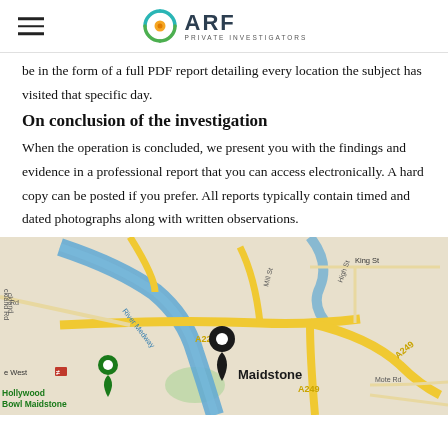ARF PRIVATE INVESTIGATORS
be in the form of a full PDF report detailing every location the subject has visited that specific day.
On conclusion of the investigation
When the operation is concluded, we present you with the findings and evidence in a professional report that you can access electronically. A hard copy can be posted if you prefer. All reports typically contain timed and dated photographs along with written observations.
[Figure (map): Google Maps view of Maidstone town centre showing River Medway, A229, A249, High St, Mill St, King St, Romney Pl, Mote Rd, with a black location pin on Maidstone and a green pin near Hollywood Bowl Maidstone.]